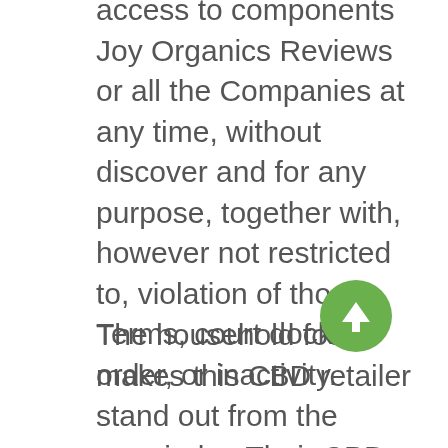access to components Joy Organics Reviews or all the Companies at any time, without discover and for any purpose, together with, however not restricted to, violation of those Terms, court docket order, or inactivity.
The household focus makes this CBD retailer stand out from the remainder. Their CBD goals are in contrast to others. All their products are created with compassion, excellence, and integrity. The result? The very best-high quality Joy Organics Reviews hemp CBD products are earning one of the best critiques for Pleasure Organics. Joy Organics, based mostly in Fort Collins, Colorado, was based by Pleasure Smith and husband Todd in June 2018.
All its merchandise are produced in a GMP...
[Figure (other): Green circular scroll-to-top button with white upward arrow]